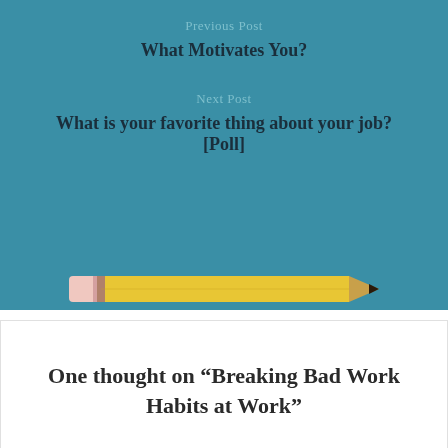Previous Post
What Motivates You?
Next Post
What is your favorite thing about your job? [Poll]
[Figure (illustration): A yellow pencil illustration centered horizontally]
One thought on “Breaking Bad Work Habits at Work”
Sian says:
January 19, 2017 at 12:57 PM
Great tips to start with on breaking bad habits. Si...